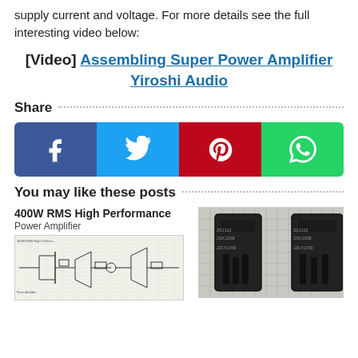supply current and voltage. For more details see the full interesting video below:
[Video] Assembling Super Power Amplifier Yiroshi Audio
Share
[Figure (infographic): Social share buttons: Facebook (dark blue), Twitter (light blue), Pinterest (red), WhatsApp (green), each with white icon]
You may like these posts
400W RMS High Performance Power Amplifier
[Figure (schematic): Circuit schematic diagram for 400W RMS High Performance Power Amplifier]
[Figure (photo): Photo of two power transistors on graph paper background]